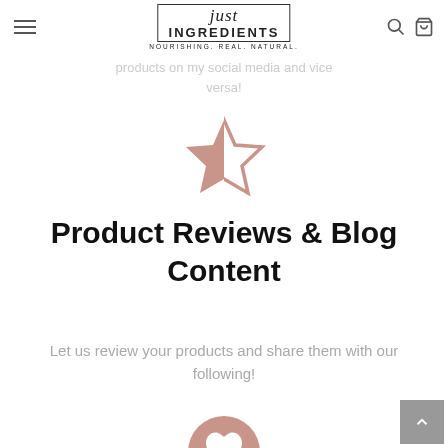Just Ingredients — NOURISHING. REAL. NATURAL.
products on my social media and vice versa!
[Figure (illustration): Half-filled star icon in dusty rose/mauve color representing a review rating]
Product Reviews & Blog Content
Let us review your products and share them with our following!
[Figure (illustration): Heart icon inside a dusty rose circle, representing favorites or love]